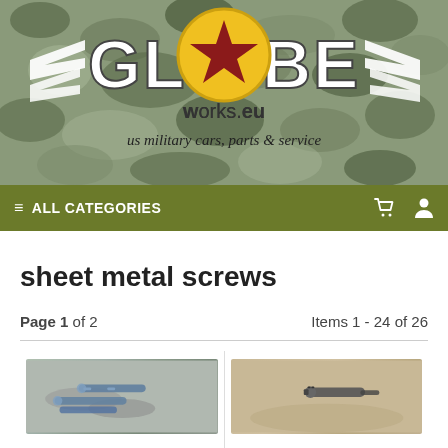[Figure (logo): Globe Works EU logo on military camouflage background. Large stylized 'GLOBE' text with wings on each side, a yellow circle with red star replacing the 'O'. Below: 'works.eu' and tagline 'us military cars, parts & service']
≡ ALL CATEGORIES
sheet metal screws
Page 1 of 2    Items 1 - 24 of 26
[Figure (photo): Product photo showing sheet metal screws on grey background]
[Figure (photo): Product photo showing a sheet metal screw on tan/brown background]